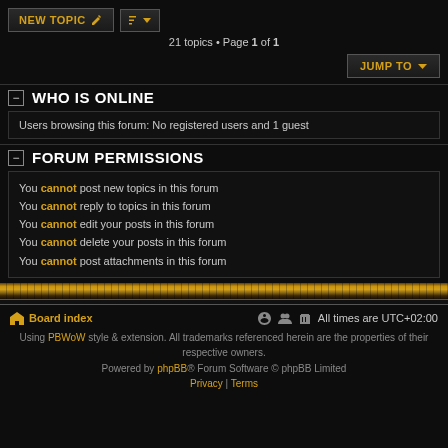21 topics • Page 1 of 1
WHO IS ONLINE
Users browsing this forum: No registered users and 1 guest
FORUM PERMISSIONS
You cannot post new topics in this forum
You cannot reply to topics in this forum
You cannot edit your posts in this forum
You cannot delete your posts in this forum
You cannot post attachments in this forum
Board index  All times are UTC+02:00  Using PBWoW style & extension. All trademarks referenced herein are the properties of their respective owners. Powered by phpBB® Forum Software © phpBB Limited  Privacy | Terms